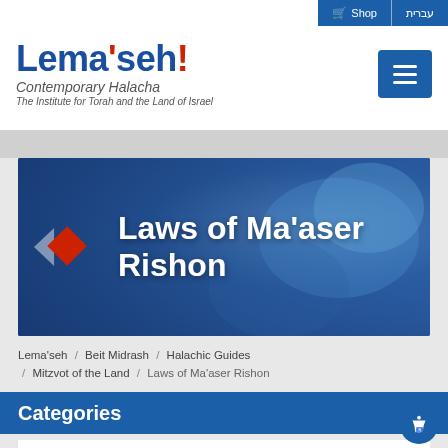Shop | עברית
Lema'seh! Contemporary Halacha — The Institute for Torah and the Land of Israel
[Figure (screenshot): Hero banner with overlay and blue-tinted vegetable background showing 'Laws of Ma'aser Rishon' title text]
Lema'seh / Beit Midrash / Halachic Guides / Mitzvot of the Land / Laws of Ma'aser Rishon
Categories
Procedure for Separating Terumot and